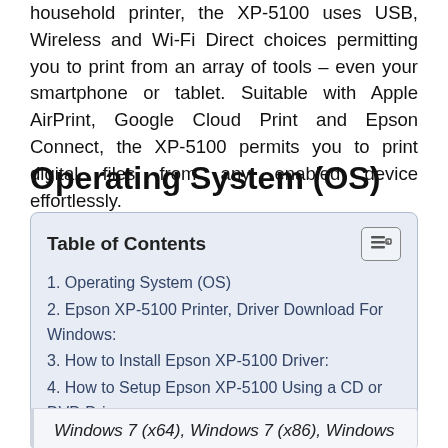household printer, the XP-5100 uses USB, Wireless and Wi-Fi Direct choices permitting you to print from an array of tools – even your smartphone or tablet. Suitable with Apple AirPrint, Google Cloud Print and Epson Connect, the XP-5100 permits you to print digital files from any enabled device effortlessly.
Operating System (OS)
| Table of Contents |
| --- |
| 1. Operating System (OS) |
| 2. Epson XP-5100 Printer, Driver Download For Windows: |
| 3. How to Install Epson XP-5100 Driver: |
| 4. How to Setup Epson XP-5100 Using a CD or DVD Driver: |
Windows 7 (x64), Windows 7 (x86), Windows 8